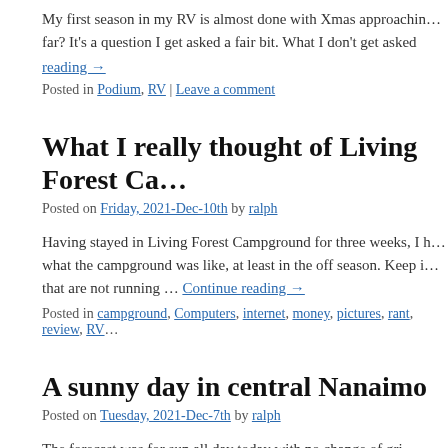My first season in my RV is almost done with Xmas approaching far? It's a question I get asked a fair bit. What I don't get asked reading →
Posted in Podium, RV | Leave a comment
What I really thought of Living Forest Ca…
Posted on Friday, 2021-Dec-10th by ralph
Having stayed in Living Forest Campground for three weeks, I … what the campground was like, at least in the off season. Keep i… that are not running … Continue reading →
Posted in campground, Computers, internet, money, pictures, rant, review, RV…
A sunny day in central Nanaimo
Posted on Tuesday, 2021-Dec-7th by ralph
The forecast was for sun all day today with no change of gri…